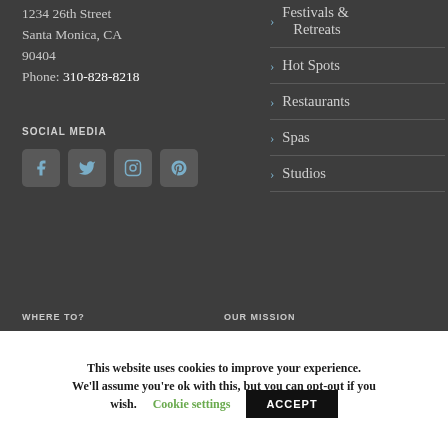1234 26th Street
Santa Monica, CA 90404
Phone: 310-828-8218
SOCIAL MEDIA
[Figure (other): Social media icons: Facebook, Twitter, Instagram, Pinterest]
> Festivals & Retreats
> Hot Spots
> Restaurants
> Spas
> Studios
WHERE TO?    OUR MISSION
This website uses cookies to improve your experience. We'll assume you're ok with this, but you can opt-out if you wish.
Cookie settings    ACCEPT